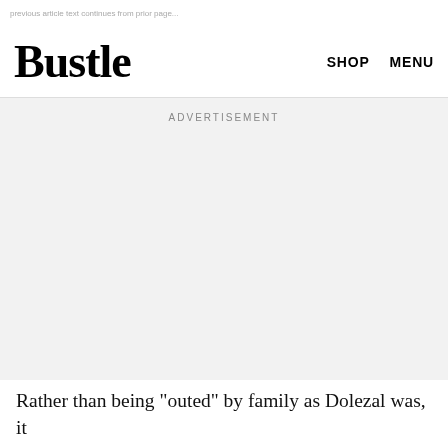previous article text (partially visible)
Bustle
SHOP   MENU
ADVERTISEMENT
Rather than being "outed" by family as Dolezal was, it